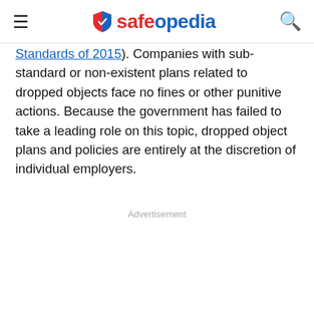safeopedia
Standards of 2015). Companies with sub-standard or non-existent plans related to dropped objects face no fines or other punitive actions. Because the government has failed to take a leading role on this topic, dropped object plans and policies are entirely at the discretion of individual employers.
Advertisement